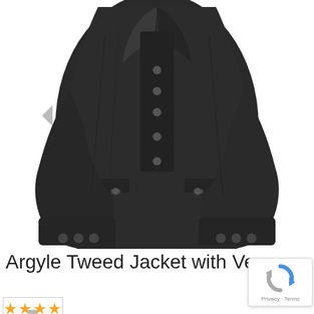[Figure (photo): Dark charcoal/black Argyle Tweed jacket with vest, displayed on white background. The jacket features lapels, multiple buttons down the front, flap pockets with buttons, and buttoned cuffs. A small grey navigation arrow icon is visible on the left side.]
Argyle Tweed Jacket with Ve
[Figure (logo): Google reCAPTCHA badge with spinning arrow logo, showing 'Privacy · Terms' text below]
★★★★